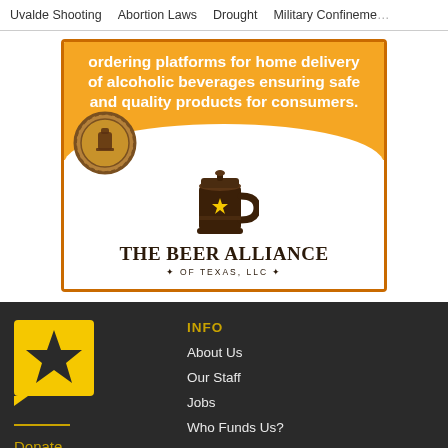Uvalde Shooting | Abortion Laws | Drought | Military Confinement
[Figure (advertisement): The Beer Alliance of Texas LLC advertisement. Orange background with white bold text about ordering platforms for home delivery of alcoholic beverages ensuring safe and quality products for consumers. Beer mug logo and coin logo on white curved bottom section.]
[Figure (logo): Yellow square with black star - Texas Tribune style logo in footer]
Donate
INFO
About Us
Our Staff
Jobs
Who Funds Us?